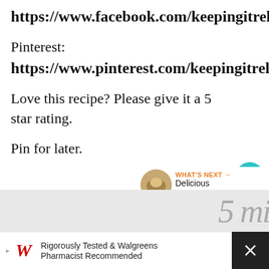https://www.facebook.com/keepingitrelle
Pinterest:
https://www.pinterest.com/keepingitrelle/
Love this recipe? Please give it a 5 star rating.
Pin for later.
[Figure (other): Teal heart button with count 35 and share button]
[Figure (other): What's Next panel with food image and text: Delicious Kamaboko Dip]
[Figure (other): Bottom image strip with cursive text partially visible]
[Figure (other): Advertisement bar: Walgreens - Rigorously Tested & Walgreens Pharmacist Recommended]